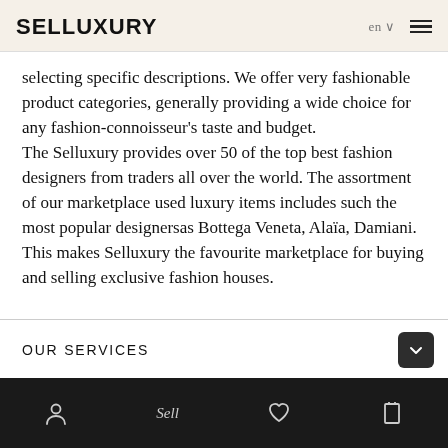SELLUXURY
selecting specific descriptions. We offer very fashionable product categories, generally providing a wide choice for any fashion-connoisseur's taste and budget. The Selluxury provides over 50 of the top best fashion designers from traders all over the world. The assortment of our marketplace used luxury items includes such the most popular designersas Bottega Veneta, Alaïa, Damiani. This makes Selluxury the favourite marketplace for buying and selling exclusive fashion houses.
OUR SERVICES
HELP & INFORMATION